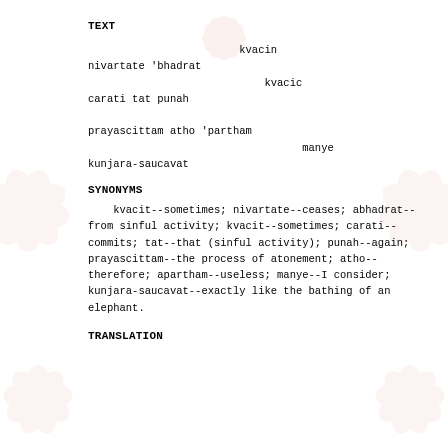TEXT
kvacin
nivartate 'bhadrat
                        kvacic
carati tat punah

prayascittam atho 'partham
                              manye
kunjara-saucavat
SYNONYMS
kvacit--sometimes; nivartate--ceases; abhadrat--from sinful activity; kvacit--sometimes; carati--commits; tat--that (sinful activity); punah--again; prayascittam--the process of atonement; atho--therefore; apartham--useless; manye--I consider; kunjara-saucavat--exactly like the bathing of an elephant.
TRANSLATION